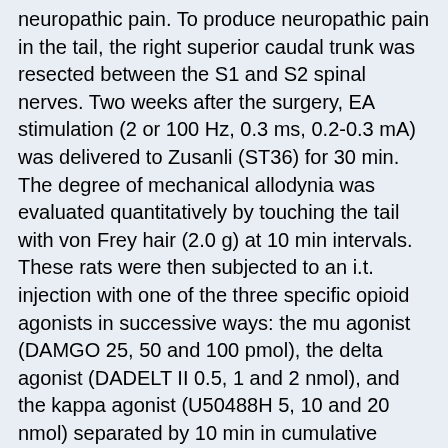neuropathic pain. To produce neuropathic pain in the tail, the right superior caudal trunk was resected between the S1 and S2 spinal nerves. Two weeks after the surgery, EA stimulation (2 or 100 Hz, 0.3 ms, 0.2-0.3 mA) was delivered to Zusanli (ST36) for 30 min. The degree of mechanical allodynia was evaluated quantitatively by touching the tail with von Frey hair (2.0 g) at 10 min intervals. These rats were then subjected to an i.t. injection with one of the three specific opioid agonists in successive ways: the mu agonist (DAMGO 25, 50 and 100 pmol), the delta agonist (DADELT II 0.5, 1 and 2 nmol), and the kappa agonist (U50488H 5, 10 and 20 nmol) separated by 10 min in cumulative doses. During 30 min of EA stimulation, specific opioid antagonists were subjected to i.t. injection: the mu antagonist (beta-FNA 5, 10 and 20 nmol), the delta antagonist (naltrindole 5, 10 and 20 nmol), and the kappa antagonist (nor-BNI 3, 6 and 12 nmol) separated by 10 min in cumulative doses. As a result, EA reduced the behavioral signs of mechanical allodynia. Two Hz EA induced a robust and longer lasting effect than 100 Hz. All three opioid agonists also showed relieving effects on mechanical allodynia. However, nor-BNI could not block the EA effects on mechanical allodynia, whereas beta-FNA or naltrindole significantly blocked EA effects. These results suggest that the mu